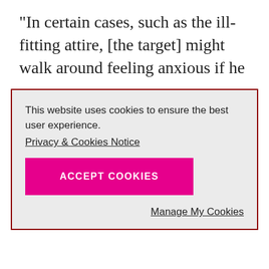“In certain cases, such as the ill-fitting attire, [the target] might walk around feeling anxious if he
[Figure (screenshot): Cookie consent overlay with 'This website uses cookies to ensure the best user experience.' text, a 'Privacy & Cookies Notice' link, a magenta 'ACCEPT COOKIES' button, and a 'Manage My Cookies' link, all inside a dark-red bordered light-gray box.]
scary news gently but frankly.
But because hope is important to their mental state as they fight the disease, patients sometimes